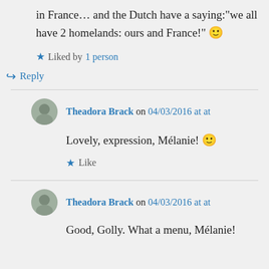in France… and the Dutch have a saying:"we all have 2 homelands: ours and France!" 🙂
★ Liked by 1 person
↪ Reply
Theadora Brack on 04/03/2016 at at
Lovely, expression, Mélanie! 🙂
★ Like
Theadora Brack on 04/03/2016 at at
Good, Golly. What a menu, Mélanie!